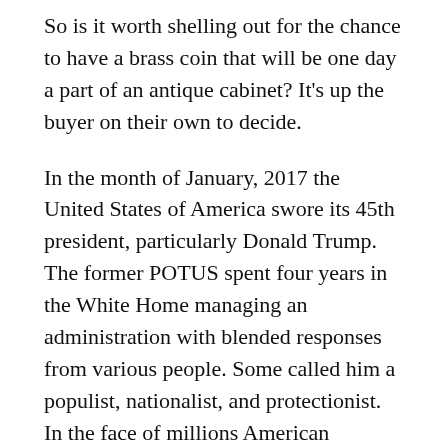So is it worth shelling out for the chance to have a brass coin that will be one day a part of an antique cabinet? It’s up the buyer on their own to decide.
In the month of January, 2017 the United States of America swore its 45th president, particularly Donald Trump. The former POTUS spent four years in the White Home managing an administration with blended responses from various people. Some called him a populist, nationalist, and protectionist. In the face of millions American supporters enthralled by his system of governance, he missed his 2nd term by an “whisker.”